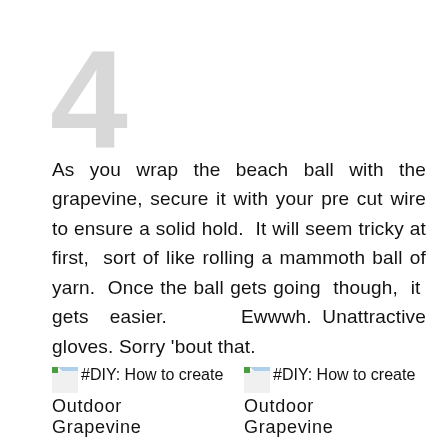4
As you wrap the beach ball with the grapevine, secure it with your pre cut wire to ensure a solid hold.  It will seem tricky at first,  sort of like rolling a mammoth ball of yarn.  Once the ball gets going though,  it gets easier.      Ewwwh.  Unattractive gloves. Sorry 'bout that.
[Figure (photo): #DIY: How to create Outdoor Grapevine]
[Figure (photo): #DIY: How to create Outdoor Grapevine]